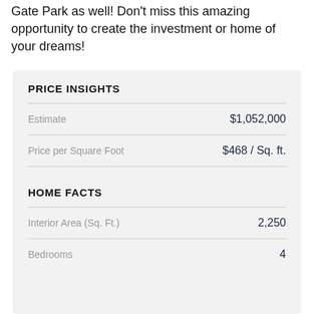Gate Park as well! Don't miss this amazing opportunity to create the investment or home of your dreams!
PRICE INSIGHTS
|  |  |
| --- | --- |
| Estimate | $1,052,000 |
| Price per Square Foot | $468 / Sq. ft. |
HOME FACTS
|  |  |
| --- | --- |
| Interior Area (Sq. Ft.) | 2,250 |
| Bedrooms | 4 |